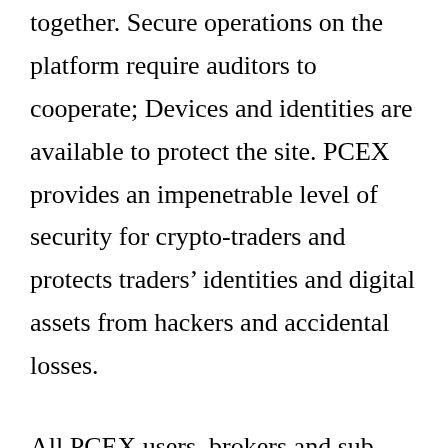together. Secure operations on the platform require auditors to cooperate; Devices and identities are available to protect the site. PCEX provides an impenetrable level of security for crypto-traders and protects traders' identities and digital assets from hackers and accidental losses.
All PCEX users, brokers and sub-brokers must complete the KYC / AML protocol; PCEX is preparing for any future rules. Traders can also be sure of legitimate